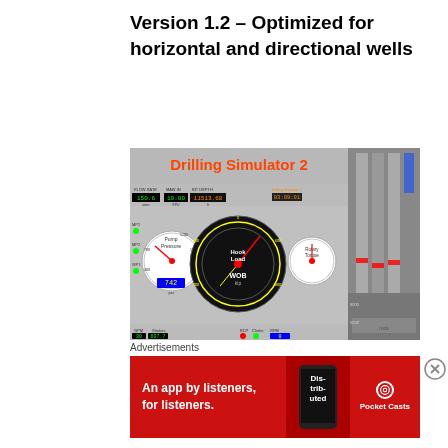Version 1.2 – Optimized for horizontal and directional wells
[Figure (screenshot): Drilling Simulator 2 software screenshot showing instrument gauges (pump pressure, hook load/WOB, rotary torque), digital readouts (flow rate, ROP bit depth, GPM, strokes), real-time chart logs (differential pressure, kill/choke pressure, flow in, flow out, active volume, RPM, rotary torque, drilling flow), and a well schematic diagram on the right side.]
Advertisements
[Figure (infographic): Red advertisement banner for Pocket Casts app with text 'An app by listeners, for listeners.' and Pocket Casts logo, with decorative phone graphic showing 'Distributed' text.]